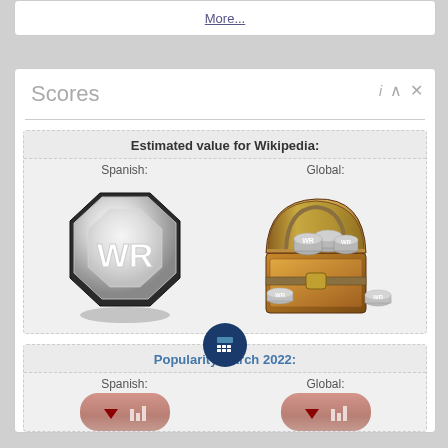More...
Scores
Estimated value for Wikipedia:
Spanish:
[Figure (illustration): Silver WR octagonal coin/medal]
Global:
[Figure (illustration): Treasure chest filled with WR coins]
Popularity March 2022:
Spanish:
Global:
[Figure (illustration): Popularity badge Spanish - bar/chart icon]
[Figure (illustration): Popularity badge Global - bar/chart icon]